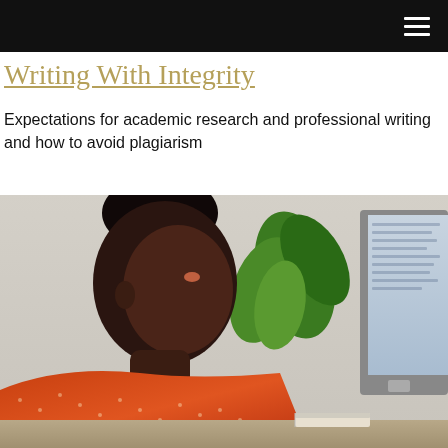Navigation bar with hamburger menu
Writing With Integrity
Expectations for academic research and professional writing and how to avoid plagiarism
[Figure (photo): A Black woman with her hair up, wearing an orange polka-dot shirt, looking down at a computer monitor. There is a green plant in the background and a book on the desk.]